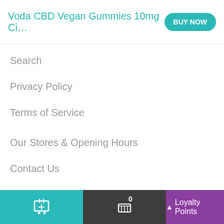Voda CBD Vegan Gummies 10mg Ci...
Search
Privacy Policy
Terms of Service
Our Stores & Opening Hours
Contact Us
Terms & Conditions
[Figure (logo): The CBD Farmacy logo with large teal CBD letters and purple script farmacy text with leaf]
Loyalty Points